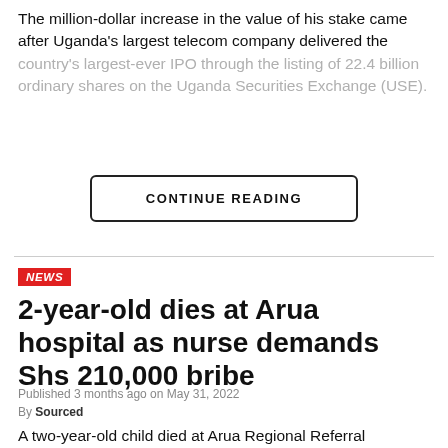The million-dollar increase in the value of his stake came after Uganda's largest telecom company delivered the country's largest-ever IPO through the listing of 22.4 billion ordinary shares on the Uganda Securities Exchange (USE).
CONTINUE READING
NEWS
2-year-old dies at Arua hospital as nurse demands Shs 210,000 bribe
Published 3 months ago on May 31, 2022
By Sourced
A two-year-old child died at Arua Regional Referral